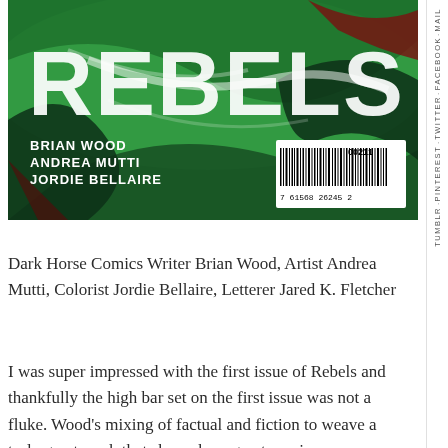[Figure (illustration): Comic book cover for REBELS by Brian Wood, Andrea Mutti, Jordie Bellaire. Large white distressed text 'REBELS' on green abstract background with dark shapes. Author names listed in white bold text. Barcode in lower right corner reading 7 61568 26245 2 with number 00211.]
Dark Horse Comics Writer Brian Wood, Artist Andrea Mutti, Colorist Jordie Bellaire, Letterer Jared K. Fletcher
I was super impressed with the first issue of Rebels and thankfully the high bar set on the first issue was not a fluke. Wood's mixing of factual and fiction to weave a truly great work that shows how great comics